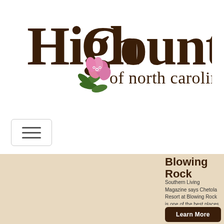[Figure (logo): High Country of North Carolina logo with large brown bold text and pink rhododendron flower illustration]
[Figure (other): Hamburger/navigation menu toggle button with three horizontal lines]
[Figure (photo): Photo of Chetola Resort at Blowing Rock showing a large rustic lodge with outdoor seating and green landscaping at dusk]
Blowing Rock
Southern Living Magazine says Chetola Resort at Blowing Rock is one of the best places to stay in the Blue Ridge Mountains.
Chetola is situated on 87 breathtaking
Learn More